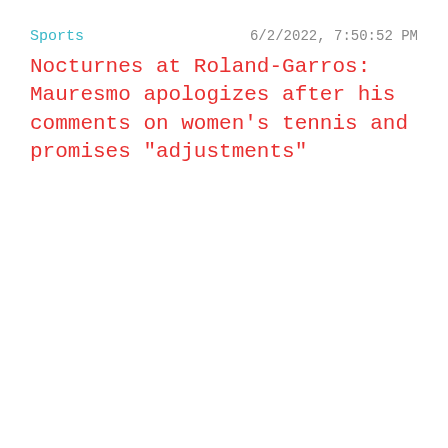Sports
6/2/2022, 7:50:52 PM
Nocturnes at Roland-Garros: Mauresmo apologizes after his comments on women's tennis and promises "adjustments"
Sports
6/4/2022, 3:45:41 PM
Roland-Garros: legend Billie Jean King singes out éli...